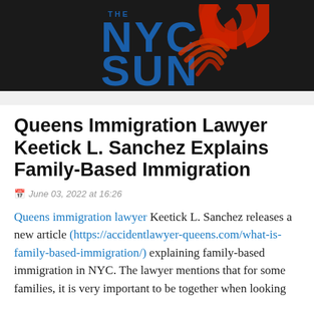[Figure (logo): NYC Sun newspaper logo with blue text and red swirl graphic on dark background]
Queens Immigration Lawyer Keetick L. Sanchez Explains Family-Based Immigration
June 03, 2022 at 16:26
Queens immigration lawyer Keetick L. Sanchez releases a new article (https://accidentlawyer-queens.com/what-is-family-based-immigration/) explaining family-based immigration in NYC. The lawyer mentions that for some families, it is very important to be together when looking